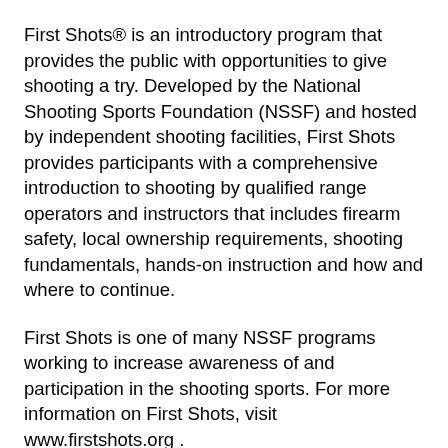First Shots® is an introductory program that provides the public with opportunities to give shooting a try. Developed by the National Shooting Sports Foundation (NSSF) and hosted by independent shooting facilities, First Shots provides participants with a comprehensive introduction to shooting by qualified range operators and instructors that includes firearm safety, local ownership requirements, shooting fundamentals, hands-on instruction and how and where to continue.
First Shots is one of many NSSF programs working to increase awareness of and participation in the shooting sports. For more information on First Shots, visit www.firstshots.org .
NSSF, founded in 1961, is the trade association for the firearms and recreational shooting sports industry and promotes the safe ownership and responsible use of